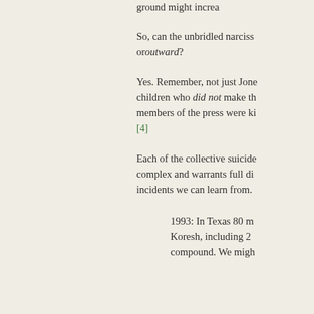ground might increa
So, can the unbridled narciss or​outward?
Yes. Remember, not just Jone children who did not make th members of the press were ki [4]
Each of the collective suicide complex and warrants full di incidents we can learn from.
1993: In Texas 80 m Koresh, including 2 compound. We migh